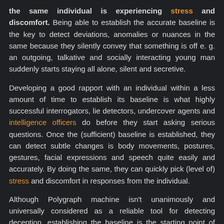the same individual is experiencing stress and discomfort. Being able to establish the accurate baseline is the key to detect deviations, anomalies or nuances in the same because they silently convey that something is off e. g. an outgoing, talkative and socially interacting young man suddenly starts staying all alone, silent and secretive.
Developing a good rapport with an individual within a less amount of time to establish its baseline is what highly successful interrogators, lie detectors, undercover agents and intelligence officers do before they start asking serious questions. Once the (sufficient) baseline is established, they can detect subtle changes is body movements, postures, gestures, facial expressions and speech quite easily and accurately. By doing the same, they can quickly pick (level of) stress and discomfort in responses from the individual.
Although Polygraph machine isn't unanimously and universally considered as a reliable tool for detecting deception, establishing the baseline is the starting point of polygraph tests. The individual who is subjected to the